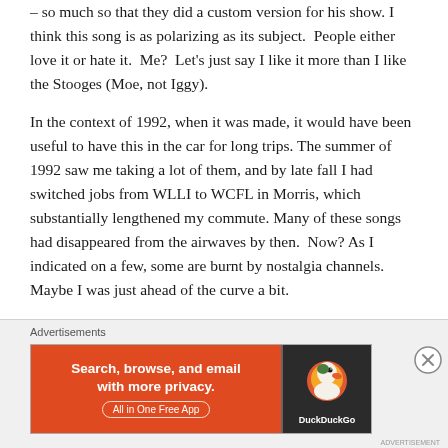– so much so that they did a custom version for his show. I think this song is as polarizing as its subject.  People either love it or hate it.  Me?  Let's just say I like it more than I like the Stooges (Moe, not Iggy).
In the context of 1992, when it was made, it would have been useful to have this in the car for long trips. The summer of 1992 saw me taking a lot of them, and by late fall I had switched jobs from WLLI to WCFL in Morris, which substantially lengthened my commute. Many of these songs had disappeared from the airwaves by then.  Now? As I indicated on a few, some are burnt by nostalgia channels.  Maybe I was just ahead of the curve a bit.
[Figure (other): DuckDuckGo advertisement banner: orange background with text 'Search, browse, and email with more privacy. All in One Free App' on the left side, and the DuckDuckGo logo (duck icon) on a dark background on the right side.]